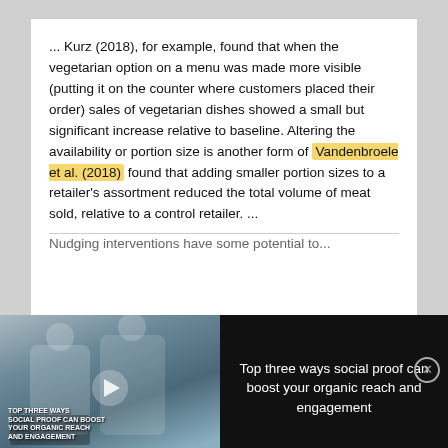... Kurz (2018), for example, found that when the vegetarian option on a menu was made more visible (putting it on the counter where customers placed their order) sales of vegetarian dishes showed a small but significant increase relative to baseline. Altering the availability or portion size is another form of Vandenbroele et al. (2018) found that adding smaller portion sizes to a retailer's assortment reduced the total volume of meat sold, relative to a control retailer. ...
Nudging interventions have some potential to...
[Figure (screenshot): Video ad overlay on dark background showing scientists in a lab with text 'Top three ways social proof can boost your organic reach and engagement' and a play button over the video thumbnail.]
[Figure (advertisement): SCIEX advertisement banner with logo and text 'Save cost and extend column lifetime', with a product image thumbnail on the left.]